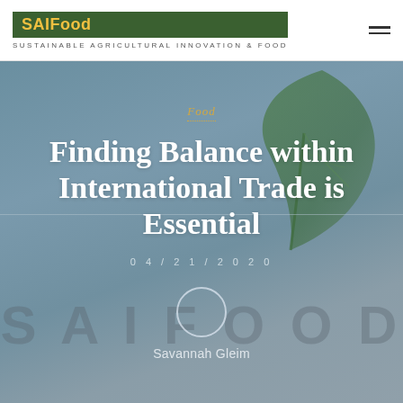SAIFood — SUSTAINABLE AGRICULTURAL INNOVATION & FOOD
Food
Finding Balance within International Trade is Essential
04/21/2020
[Figure (illustration): Circular author avatar placeholder]
Savannah Gleim